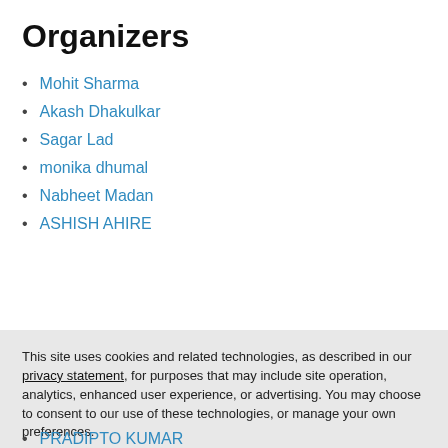Organizers
Mohit Sharma
Akash Dhakulkar
Sagar Lad
monika dhumal
Nabheet Madan
ASHISH AHIRE
This site uses cookies and related technologies, as described in our privacy statement, for purposes that may include site operation, analytics, enhanced user experience, or advertising. You may choose to consent to our use of these technologies, or manage your own preferences.
Accept Cookies
More Information
Privacy Policy | Powered by: TrustArc
PRADIPTO KUMAR